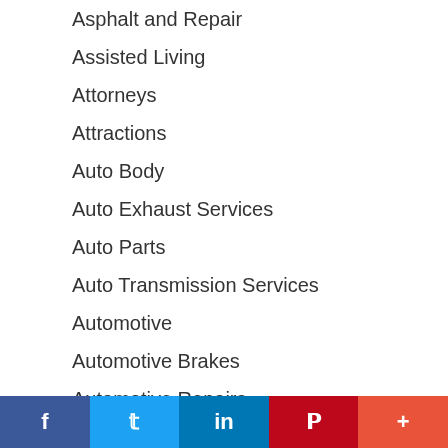Asphalt and Repair
Assisted Living
Attorneys
Attractions
Auto Body
Auto Exhaust Services
Auto Parts
Auto Transmission Services
Automotive
Automotive Brakes
Automotive Repairs
Bail Bonds
Bakeries
Bakery
f  Twitter  in  Pinterest  +